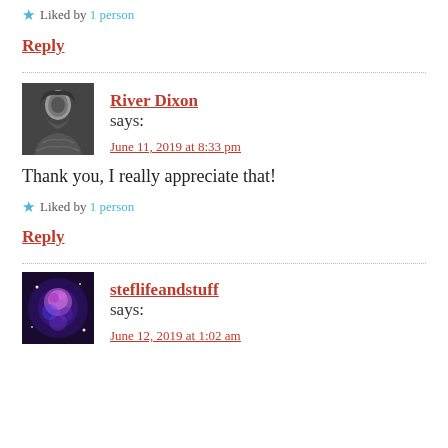★ Liked by 1 person
Reply
River Dixon says:
June 11, 2019 at 8:33 pm
Thank you, I really appreciate that!
★ Liked by 1 person
Reply
steflifeandstuff says:
June 12, 2019 at 1:02 am